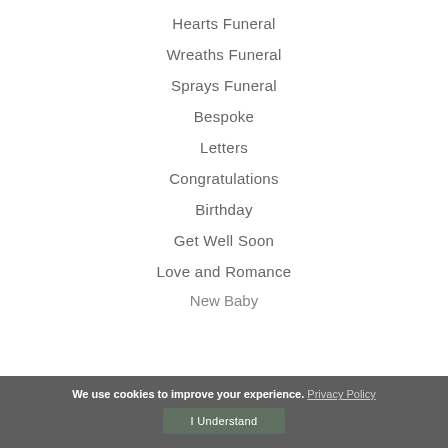Hearts Funeral
Wreaths Funeral
Sprays Funeral
Bespoke
Letters
Congratulations
Birthday
Get Well Soon
Love and Romance
New Baby
We use cookies to improve your experience. Privacy Policy
I Understand